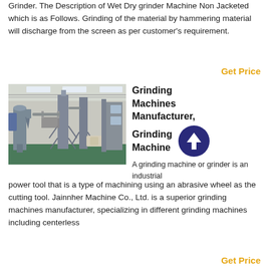Grinder. The Description of Wet Dry grinder Machine Non Jacketed which is as Follows. Grinding of the material by hammering material will discharge from the screen as per customer's requirement.
Get Price
[Figure (photo): Industrial factory interior showing large grinding/milling machines, conveyor equipment, storage silos, and processing plant machinery in a warehouse with skylights.]
Grinding Machines Manufacturer, Grinding Machine
[Figure (other): Dark blue circle icon with white upward arrow]
A grinding machine or grinder is an industrial power tool that is a type of machining using an abrasive wheel as the cutting tool. Jainnher Machine Co., Ltd. is a superior grinding machines manufacturer, specializing in different grinding machines including centerless
Get Price